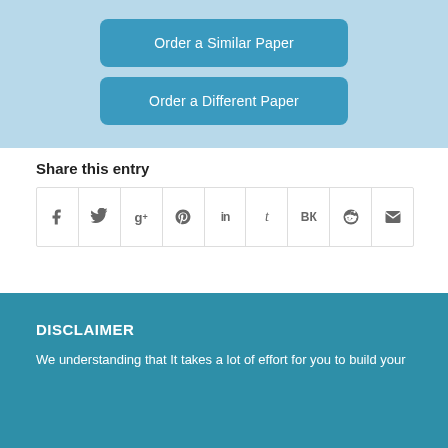Order a Similar Paper
Order a Different Paper
Share this entry
[Figure (other): Social media share icons row: Facebook, Twitter, Google+, Pinterest, LinkedIn, Tumblr, VK, Reddit, Email]
DISCLAIMER
We understanding that It takes a lot of effort for you to build your